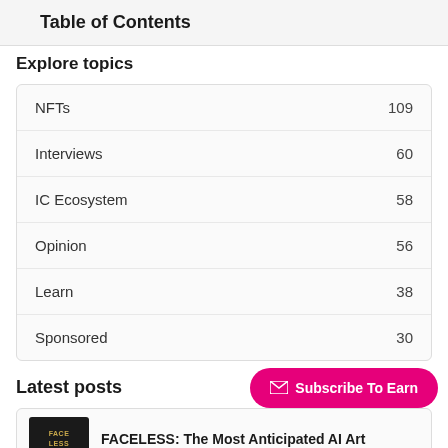Table of Contents
Explore topics
| Topic | Count |
| --- | --- |
| NFTs | 109 |
| Interviews | 60 |
| IC Ecosystem | 58 |
| Opinion | 56 |
| Learn | 38 |
| Sponsored | 30 |
Latest posts
Subscribe To Earn
FACELESS: The Most Anticipated AI Art